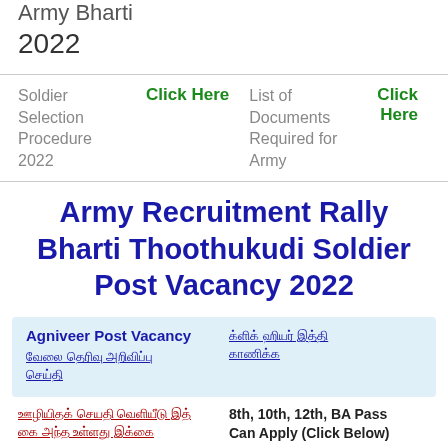Army Bharti
2022
| Soldier Selection Procedure 2022 | Click Here | List of Documents Required for Army | Click Here |
Army Recruitment Rally Bharti Thoothukudi Soldier Post Vacancy 2022
| Agniveer Post Vacancy
[Tamil text link] | [Tamil text link] |
[Tamil text] 8th, 10th, 12th, BA Pass Can Apply (Click Below)